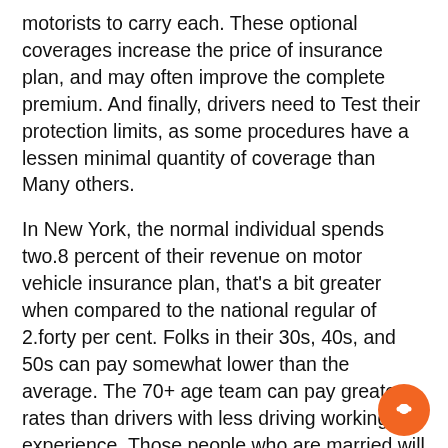motorists to carry each. These optional coverages increase the price of insurance plan, and may often improve the complete premium. And finally, drivers need to Test their protection limits, as some procedures have a lessen minimal quantity of coverage than Many others.
In New York, the normal individual spends two.8 percent of their revenue on motor vehicle insurance plan, that’s a bit greater when compared to the national regular of 2.forty per cent. Folks in their 30s, 40s, and 50s can pay somewhat lower than the average. The 70+ age team can pay greater rates than drivers with less driving working experience. Those people who are married will pay marginally higher premiums, but nevertheless decreased than solitary people.
Along with lessen prices, motorists also can consider defensive driving programs. These classes are 320 minutes in size, and include things like conversations of driver Mind-set and site visitors laws. Additionally they train defensive driving procedures which can significantly reduce the price